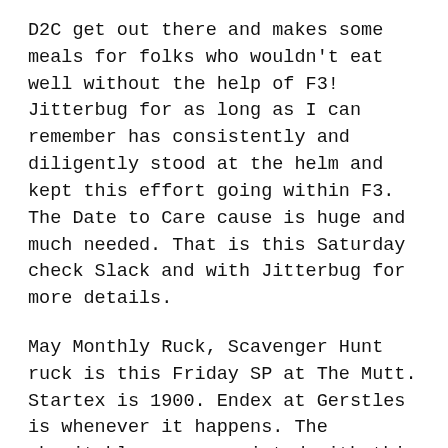D2C get out there and makes some meals for folks who wouldn't eat well without the help of F3! Jitterbug for as long as I can remember has consistently and diligently stood at the helm and kept this effort going within F3. The Date to Care cause is huge and much needed. That is this Saturday check Slack and with Jitterbug for more details.
May Monthly Ruck, Scavenger Hunt ruck is this Friday SP at The Mutt. Startex is 1900. Endex at Gerstles is whenever it happens. The charitable org associated with this months tuck is Nortons Children's Hospitals Child Life department and foundation. Check the link